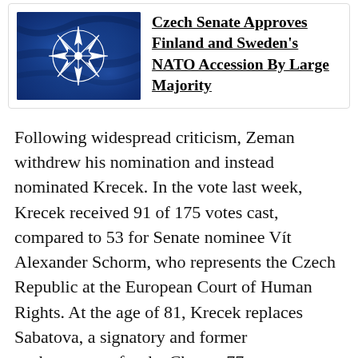[Figure (photo): NATO logo/flag — dark blue fabric with NATO compass star emblem in white]
Czech Senate Approves Finland and Sweden's NATO Accession By Large Majority
Following widespread criticism, Zeman withdrew his nomination and instead nominated Krecek. In the vote last week, Krecek received 91 of 175 votes cast, compared to 53 for Senate nominee Vít Alexander Schorm, who represents the Czech Republic at the European Court of Human Rights. At the age of 81, Krecek replaces Sabatova, a signatory and former spokeswoman for the Charter 77 movement widely regarded as a liberal defender of minority rights, whose six-year term ended yesterday. Voting took place by secret ballot, but based on public statements, the majority of Krecek's support probably came from the ruling parties, ANO and Krecek's